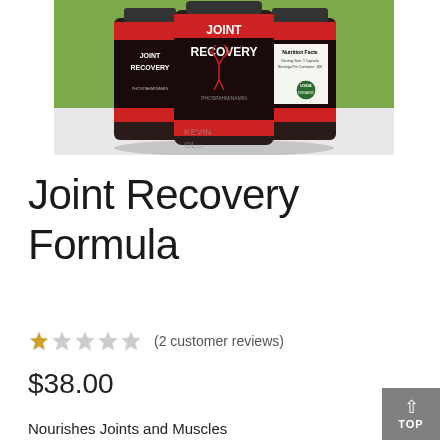[Figure (photo): Three dark bottles of Joint Recovery Formula supplement with red and black labels showing 'JOINT RECOVERY' text, placed against a green background on a white surface.]
Joint Recovery Formula
★★★★★ (2 customer reviews)
$38.00
Nourishes Joints and Muscles